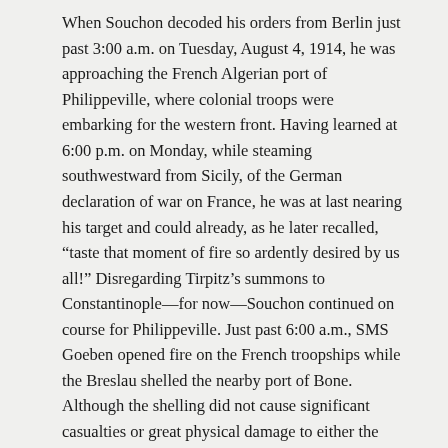When Souchon decoded his orders from Berlin just past 3:00 a.m. on Tuesday, August 4, 1914, he was approaching the French Algerian port of Philippeville, where colonial troops were embarking for the western front. Having learned at 6:00 p.m. on Monday, while steaming southwestward from Sicily, of the German declaration of war on France, he was at last nearing his target and could already, as he later recalled, “taste that moment of fire so ardently desired by us all!” Disregarding Tirpitz’s summons to Constantinople—for now—Souchon continued on course for Philippeville. Just past 6:00 a.m., SMS Goeben opened fire on the French troopships while the Breslau shelled the nearby port of Bone. Although the shelling did not cause significant casualties or great physical damage to either the troopships or the port, the German attack concerned the French fleet commander, Vice Admiral Augustin Boué de Lapeyrère, enough that he ordered his squadron to form